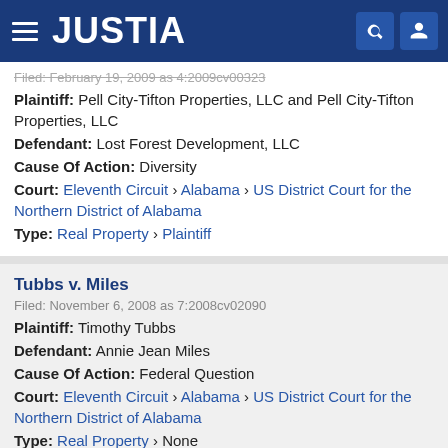JUSTIA
Filed: February 19, 2009 as 4:2009cv00323
Plaintiff: Pell City-Tifton Properties, LLC and Pell City-Tifton Properties, LLC
Defendant: Lost Forest Development, LLC
Cause Of Action: Diversity
Court: Eleventh Circuit › Alabama › US District Court for the Northern District of Alabama
Type: Real Property › Plaintiff
Tubbs v. Miles
Filed: November 6, 2008 as 7:2008cv02090
Plaintiff: Timothy Tubbs
Defendant: Annie Jean Miles
Cause Of Action: Federal Question
Court: Eleventh Circuit › Alabama › US District Court for the Northern District of Alabama
Type: Real Property › None